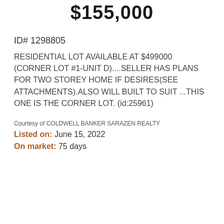$155,000
ID# 1298805
RESIDENTIAL LOT AVAILABLE AT $499000 (CORNER LOT #1-UNIT D)....SELLER HAS PLANS FOR TWO STOREY HOME IF DESIRES(SEE ATTACHMENTS).ALSO WILL BUILT TO SUIT ...THIS ONE IS THE CORNER LOT. (id:25961)
Courtesy of COLDWELL BANKER SARAZEN REALTY
Listed on: June 15, 2022
On market: 75 days